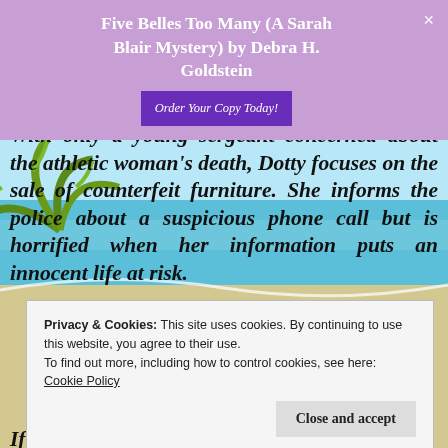Five Belles Too Many (A Sarah Blair Mystery) by Debra H. Goldstein
[Figure (illustration): Beach and palm tree background scene with turquoise water and sandy shore]
With only a young sergeant concerned about the athletic woman's death, Dotty focuses on the sale of counterfeit furniture. She informs the police about a suspicious phone call but is horrified when her information puts an innocent life at risk.
Privacy & Cookies: This site uses cookies. By continuing to use this website, you agree to their use. To find out more, including how to control cookies, see here: Cookie Policy
If you like puzzling mysteries, quirky